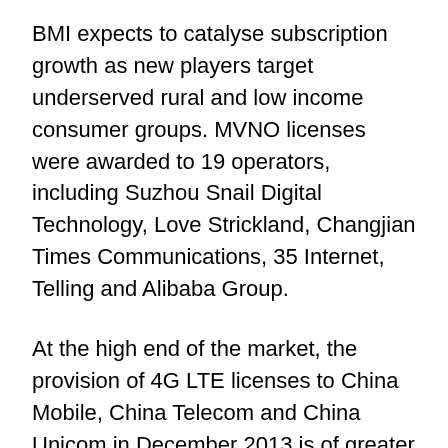BMI expects to catalyse subscription growth as new players target underserved rural and low income consumer groups. MVNO licenses were awarded to 19 operators, including Suzhou Snail Digital Technology, Love Strickland, Changjian Times Communications, 35 Internet, Telling and Alibaba Group.
At the high end of the market, the provision of 4G LTE licenses to China Mobile, China Telecom and China Unicom in December 2013 is of greater significance. Operators have been awaiting licenses to capitalise on demand for higher capacity wireless data services. The rapidly expanding high value market, particularly in coastal urban areas, is also a potential boom for foreign investors. In January